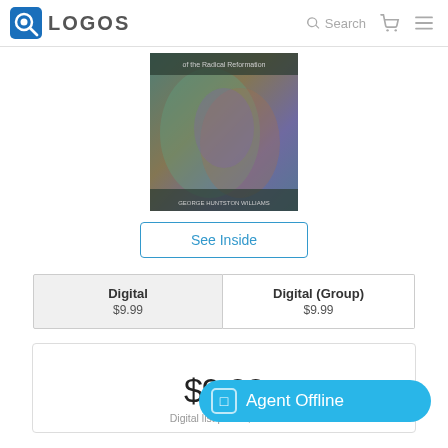LOGOS | Search
[Figure (photo): Book cover for 'The Radical Reformation' by George Huntston Williams, showing abstract colorful artwork]
See Inside
Digital $9.99
Digital (Group) $9.99
$9.88
Digital list price: $12.15  Save $2.50 (20%)
Agent Offline